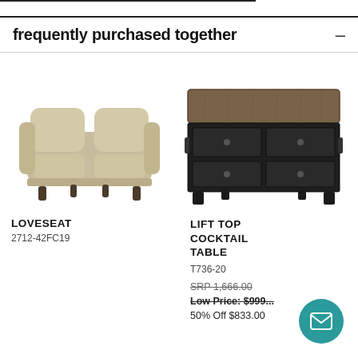frequently purchased together
[Figure (photo): Beige/tan upholstered loveseat with rolled arms and dark wooden legs]
LOVESEAT
2712-42FC19
[Figure (photo): Dark espresso finish lift-top cocktail table with four drawers and a brown wood-grain top]
LIFT TOP COCKTAIL TABLE
T736-20
SRP 1,666.00
Low Price: $999...
50% Off $833.00